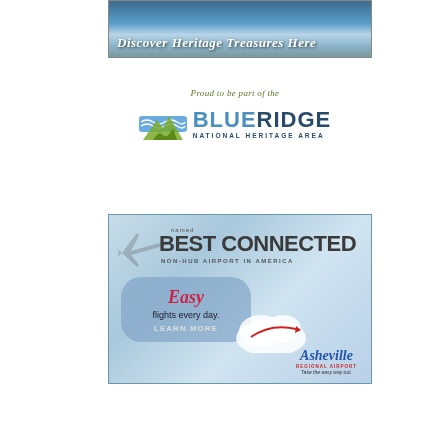[Figure (illustration): Banner with mountainous snowy landscape and text 'Discover Heritage Treasures Here' in italic white script]
[Figure (logo): Blue Ridge National Heritage Area logo with tagline 'Proud to be part of the' above stylized mountain/road icon and bold BLUERIDGE text]
[Figure (illustration): Asheville Regional Airport advertisement: 'named BEST CONNECTED NON-HUB AIRPORT IN AMERICA' with 'Easy flights every day. LEARN MORE' bubble and Asheville Regional Airport logo with 'Take the easy way out.']